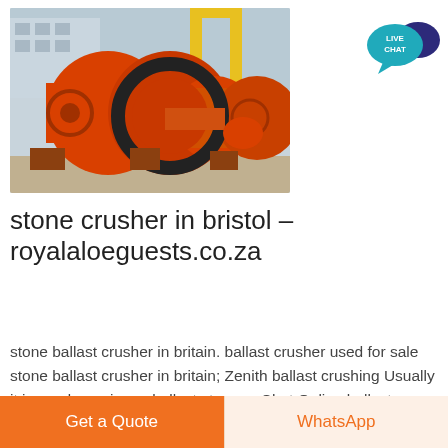[Figure (photo): Large orange industrial ball mill / stone crusher machine with black gear wheel, photographed outdoors at a factory, yellow crane structure in background]
[Figure (logo): Live Chat bubble icon — teal speech bubble with 'LIVE CHAT' text and dark blue accent bubble]
stone crusher in bristol – royalaloeguests.co.za
stone ballast crusher in britain. ballast crusher used for sale stone ballast crusher in britain; Zenith ballast crushing Usually it is used as primary ballast stone ... Chat Online ballast crushers uk – Grinding Mill China
Get a Quote
WhatsApp